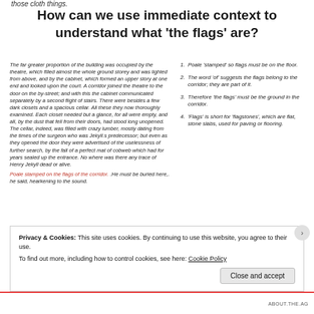those cloth things.
How can we use immediate context to understand what 'the flags' are?
The far greater proportion of the building was occupied by the theatre, which filled almost the whole ground storey and was lighted from above, and by the cabinet, which formed an upper story at one end and looked upon the court. A corridor joined the theatre to the door on the by-street; and with this the cabinet communicated separately by a second flight of stairs. There were besides a few dark closets and a spacious cellar. All these they now thoroughly examined. Each closet needed but a glance, for all were empty, and all, by the dust that fell from their doors, had stood long unopened. The cellar, indeed, was filled with crazy lumber, mostly dating from the times of the surgeon who was Jekyll.s predecessor; but even as they opened the door they were advertised of the uselessness of further search, by the fall of a perfect mat of cobweb which had for years sealed up the entrance. No where was there any trace of Henry Jekyll dead or alive.
Poale stamped on the flags of the corridor. .He must be buried here,. he said, hearkening to the sound.
Poale 'stamped' so flags must be on the floor.
The word 'of' suggests the flags belong to the corridor; they are part of it.
Therefore 'the flags' must be the ground in the corridor.
'Flags' is short for 'flagstones', which are flat, stone slabs, used for paving or flooring.
Privacy & Cookies: This site uses cookies. By continuing to use this website, you agree to their use. To find out more, including how to control cookies, see here: Cookie Policy
Close and accept